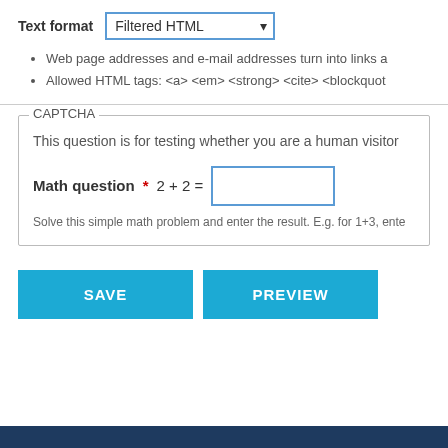Text format  Filtered HTML ▾
Web page addresses and e-mail addresses turn into links a
Allowed HTML tags: <a> <em> <strong> <cite> <blockquot
CAPTCHA
This question is for testing whether you are a human visitor
Math question * 2 + 2 =
Solve this simple math problem and enter the result. E.g. for 1+3, ente
SAVE
PREVIEW